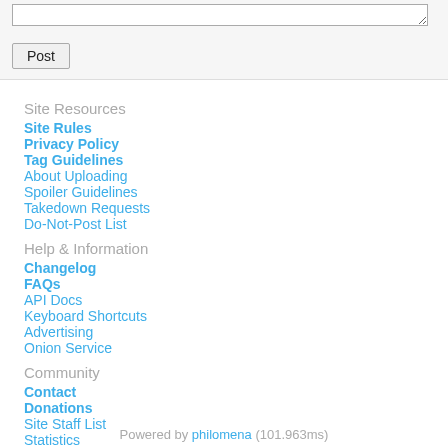[textarea / comment box]
Post
Site Resources
Site Rules
Privacy Policy
Tag Guidelines
About Uploading
Spoiler Guidelines
Takedown Requests
Do-Not-Post List
Help & Information
Changelog
FAQs
API Docs
Keyboard Shortcuts
Advertising
Onion Service
Community
Contact
Donations
Site Staff List
Statistics
About
Twitter
Powered by philomena (101.963ms)